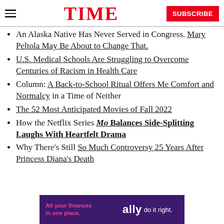TIME | SUBSCRIBE
An Alaska Native Has Never Served in Congress. Mary Peltola May Be About to Change That.
U.S. Medical Schools Are Struggling to Overcome Centuries of Racism in Health Care
Column: A Back-to-School Ritual Offers Me Comfort and Normalcy in a Time of Neither
The 52 Most Anticipated Movies of Fall 2022
How the Netflix Series Mo Balances Side-Splitting Laughs With Heartfelt Drama
Why There's Still So Much Controversy 25 Years After Princess Diana's Death
[Figure (other): Ally bank advertisement banner: 'All your finances in one place. ally do it right.' Purple background with pink and white text.]